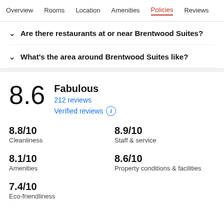Overview  Rooms  Location  Amenities  Policies  Reviews
Are there restaurants at or near Brentwood Suites?
What's the area around Brentwood Suites like?
8.6  Fabulous  212 reviews  Verified reviews
8.8/10  Cleanliness
8.9/10  Staff & service
8.1/10  Amenities
8.6/10  Property conditions & facilities
7.4/10  Eco-friendliness